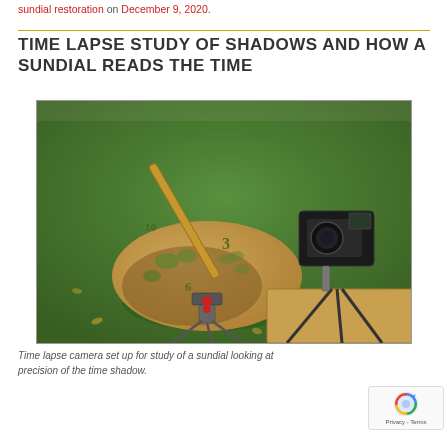sundial restoration on December 9, 2020.
TIME LAPSE STUDY OF SHADOWS AND HOW A SUNDIAL READS THE TIME
[Figure (photo): Time lapse camera set up next to a decorative golden sundial with cutout leaf and number designs, mounted on a stand. A DSLR camera on a tripod is positioned to the right, aimed at the sundial. The background is a green lawn.]
Time lapse camera set up for study of a sundial looking at precision of the time shadow.